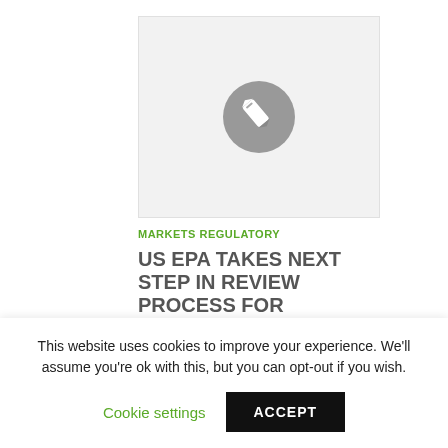[Figure (illustration): Light gray placeholder box with a gray circle containing a white pencil/edit icon in the center]
MARKETS REGULATORY
US EPA TAKES NEXT STEP IN REVIEW PROCESS FOR
This website uses cookies to improve your experience. We'll assume you're ok with this, but you can opt-out if you wish.
Cookie settings    ACCEPT